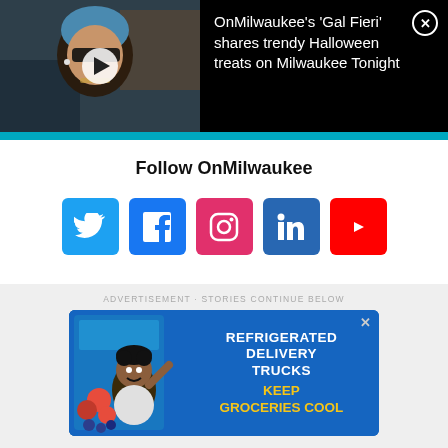[Figure (screenshot): Video thumbnail showing a person with blue-tinted hair and sunglasses, dark background, with play button overlay. Black background with text: OnMilwaukee's 'Gal Fieri' shares trendy Halloween treats on Milwaukee Tonight and an X close button.]
Follow OnMilwaukee
[Figure (infographic): Five social media icons in colored squares: Twitter (blue), Facebook (blue), Instagram (pink/magenta), LinkedIn (blue), YouTube (red)]
ADVERTISEMENT · STORIES CONTINUE BELOW
[Figure (screenshot): Advertisement for refrigerated delivery trucks. Blue background with cartoon character holding berries. Text: REFRIGERATED DELIVERY TRUCKS KEEP GROCERIES COOL]